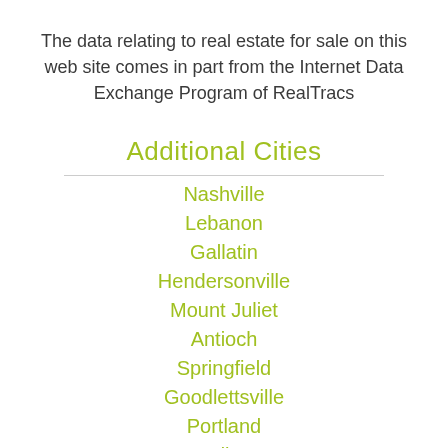The data relating to real estate for sale on this web site comes in part from the Internet Data Exchange Program of RealTracs
Additional Cities
Nashville
Lebanon
Gallatin
Hendersonville
Mount Juliet
Antioch
Springfield
Goodlettsville
Portland
Madison